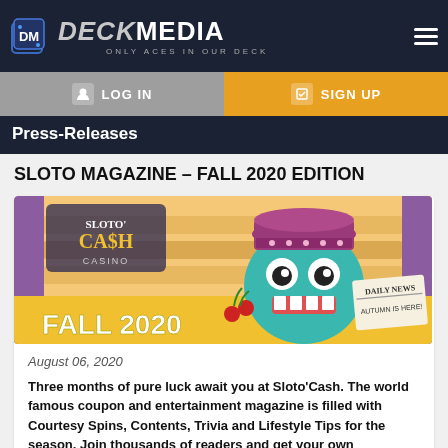[Figure (logo): Deck Media logo with dice icon and tagline 'ONLY ACES IN OUR DECK' on dark navy background]
LOG IN   SIGN UP
Press-Releases
SLOTO MAGAZINE – FALL 2020 EDITION
[Figure (illustration): Sloto'Cash Casino Fall 2020 promotional banner showing a cartoon teal monster wearing a purple winter hat, holding a Daily News newspaper reading 'AUTUMN IS HERE!', with the Sloto Cash Casino logo and text 'FALL 2020']
August 06, 2020
Three months of pure luck await you at Sloto'Cash. The world famous coupon and entertainment magazine is filled with Courtesy Spins, Contents, Trivia and Lifestyle Tips for the season. Join thousands of readers and get your own